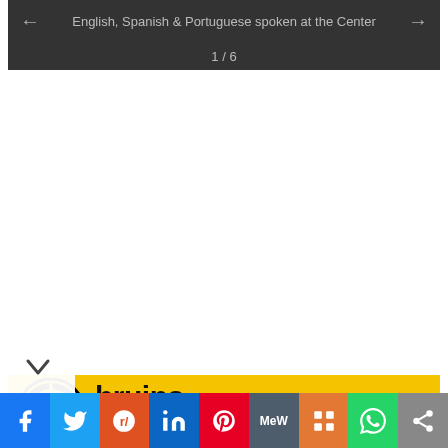[Figure (screenshot): Slideshow navigation bar with dark grey background showing text 'English, Spanish & Portuguese spoken at the Center' and navigation arrows with slide counter '1 / 6']
[Figure (logo): Bruins Academy banner with yellow background, Boston Bruins logo (black bear 'B' in circle), text 'bruins academy' in bold black, and 'presented by' in monospace text]
[Figure (screenshot): Social sharing bar with buttons for Facebook (blue), Twitter (light blue), Reddit (orange-red), LinkedIn (blue), Pinterest (red), MeWe (grey), Mix (orange), WhatsApp (green), and a share button (grey)]